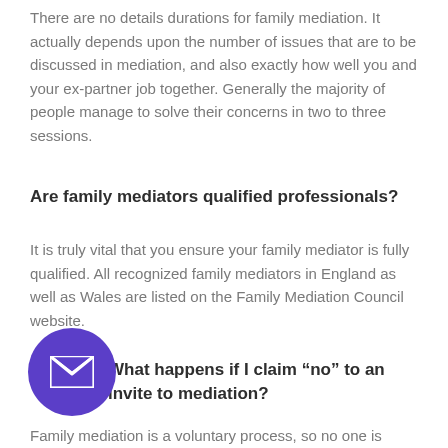There are no details durations for family mediation. It actually depends upon the number of issues that are to be discussed in mediation, and also exactly how well you and your ex-partner job together. Generally the majority of people manage to solve their concerns in two to three sessions.
Are family mediators qualified professionals?
It is truly vital that you ensure your family mediator is fully qualified. All recognized family mediators in England as well as Wales are listed on the Family Mediation Council website.
What happens if I claim “no” to an invite to mediation?
Family mediation is a voluntary process, so no one is